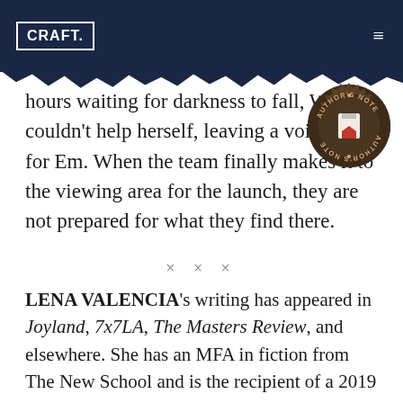CRAFT.
hours waiting for darkness to fall, Wendy couldn't help herself, leaving a voicemail for Em. When the team finally makes it to the viewing area for the launch, they are not prepared for what they find there.
× × ×
LENA VALENCIA's writing has appeared in Joyland, 7x7LA, The Masters Review, and elsewhere. She has an MFA in fiction from The New School and is the recipient of a 2019